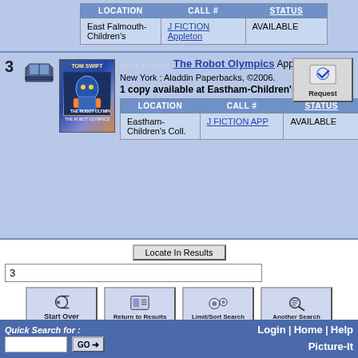| LOCATION | CALL # | STATUS |
| --- | --- | --- |
| East Falmouth-Children's | J FICTION Appleton | AVAILABLE |
3
[Figure (illustration): Book icon (stack of books)]
[Figure (photo): Book cover: Tom Swift - The Robot Olympics]
The Robot Olympics Appleton, Victor.
New York : Aladdin Paperbacks, ©2006.
1 copy available at Eastham-Children's Coll.
| LOCATION | CALL # | STATUS |
| --- | --- | --- |
| Eastham-Children's Coll. | J FICTION APP | AVAILABLE |
Locate In Results
3
Start Over | Return to Results | Limit/Sort Search | Another Search
Quick Search for : Login | Home | Help | Picture-It